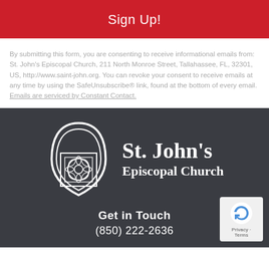Sign Up!
By submitting this form, you are consenting to receive informational emails from: St. John's Episcopal Church, 211 North Monroe Street, Tallahassee, FL, 32301, US, http://www.saint-john.org. You can revoke your consent to receive emails at any time by using the SafeUnsubscribe® link, found at the bottom of every email. Emails are serviced by Constant Contact.
[Figure (logo): St. John's Episcopal Church logo: white Gothic arch with rose window pattern on dark background, next to white serif text 'St. John's Episcopal Church']
Get in Touch
(850) 222-2636